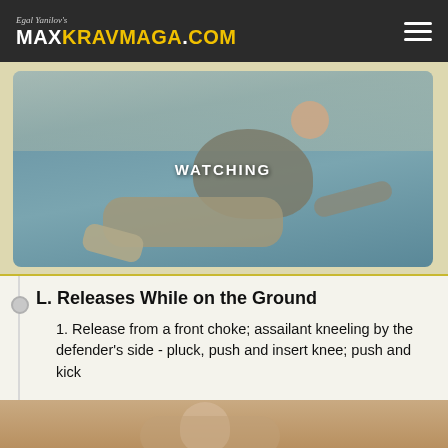Egal Yanilov's MAXKRAVMAGA.COM
[Figure (photo): Man in gray t-shirt and khaki pants performing a ground defense technique on a blue mat. A 'WATCHING' label is overlaid on the image.]
L. Releases While on the Ground
1. Release from a front choke; assailant kneeling by the defender's side - pluck, push and insert knee; push and kick
[Figure (photo): Partial view of another martial arts technique demonstration photo at the bottom of the page.]